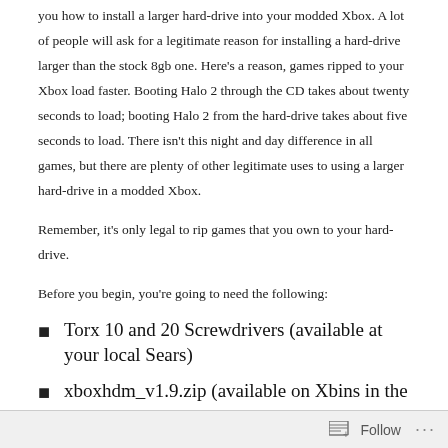you how to install a larger hard-drive into your modded Xbox. A lot of people will ask for a legitimate reason for installing a hard-drive larger than the stock 8gb one. Here's a reason, games ripped to your Xbox load faster. Booting Halo 2 through the CD takes about twenty seconds to load; booting Halo 2 from the hard-drive takes about five seconds to load. There isn't this night and day difference in all games, but there are plenty of other legitimate uses to using a larger hard-drive in a modded Xbox.
Remember, it's only legal to rip games that you own to your hard-drive.
Before you begin, you're going to need the following:
Torx 10 and 20 Screwdrivers (available at your local Sears)
xboxhdm_v1.9.zip (available on Xbins in the directory: /XBOX/Operating Systems/linux/distributions/xboxhdm/)
Follow ···